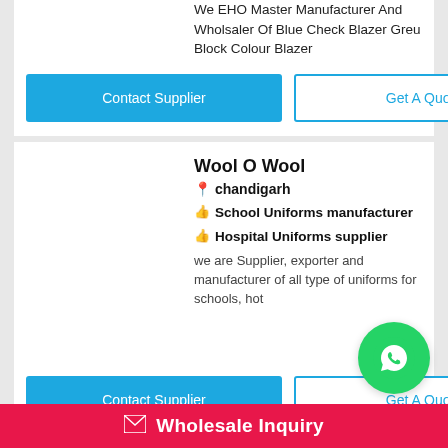We EHO Master Manufacturer And Wholsaler Of Blue Check Blazer Greu Block Colour Blazer
Contact Supplier
Get A Quote
Wool O Wool
chandigarh
School Uniforms manufacturer
Hospital Uniforms supplier
we are Supplier, exporter and manufacturer of all type of uniforms for schools, hot...
Contact Supplier
Get A Quote
Wholesale Inquiry